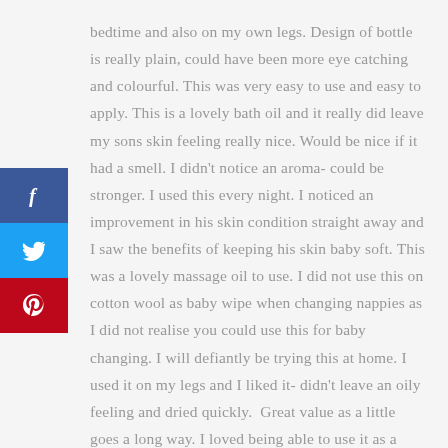bedtime and also on my own legs. Design of bottle is really plain, could have been more eye catching and colourful. This was very easy to use and easy to apply. This is a lovely bath oil and it really did leave my sons skin feeling really nice. Would be nice if it had a smell. I didn't notice an aroma- could be stronger. I used this every night. I noticed an improvement in his skin condition straight away and I saw the benefits of keeping his skin baby soft. This was a lovely massage oil to use. I did not use this on cotton wool as baby wipe when changing nappies as I did not realise you could use this for baby changing. I will defiantly be trying this at home. I used it on my legs and I liked it- didn't leave an oily feeling and dried quickly. Great value as a little goes a long way. I loved being able to use it as a baby